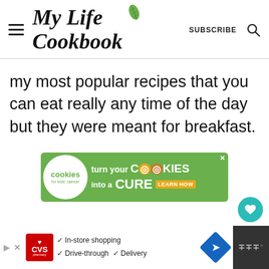My Life Cookbook
my most popular recipes that you can eat really any time of the day but they were meant for breakfast.
[Figure (infographic): Advertisement banner for Cookies for Kids Cancer: 'turn your COOKIES into a CURE LEARN HOW' on green background with white circular logo]
[Figure (infographic): Floating action buttons: heart/favorite and share icons in teal circles]
[Figure (infographic): Bottom advertisement bar for CVS Pharmacy showing In-store shopping, Drive-through, Delivery options with navigation diamond icon]